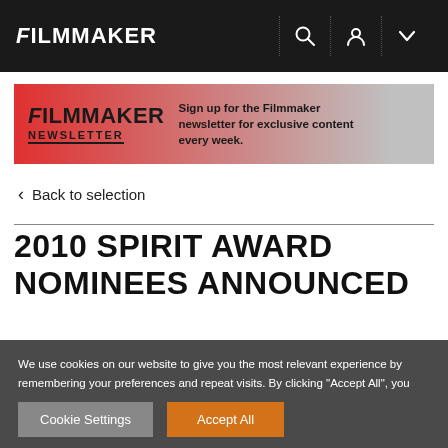FILMMAKER
[Figure (infographic): Filmmaker Newsletter sign-up banner with red-to-grey gradient background. Left side shows 'FILMMAKER' logo and 'NEWSLETTER' text. Right side says 'Sign up for the Filmmaker newsletter for exclusive content every week.']
< Back to selection
2010 SPIRIT AWARD NOMINEES ANNOUNCED
We use cookies on our website to give you the most relevant experience by remembering your preferences and repeat visits. By clicking "Accept All", you consent to the use of ALL the cookies. However, you may visit "Cookie Settings" to provide a controlled consent.